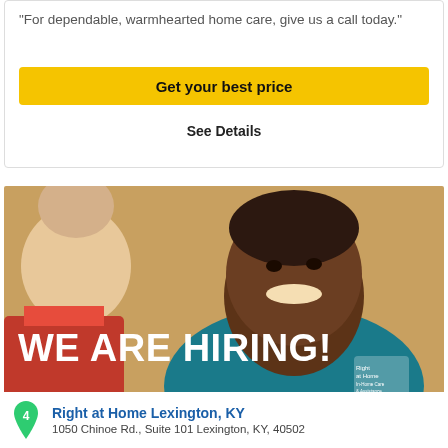"For dependable, warmhearted home care, give us a call today."
Get your best price
See Details
[Figure (photo): A smiling Black woman in a teal Right at Home polo shirt talking with an elderly woman. Large white bold text overlaid reads 'WE ARE HIRING!']
Right at Home Lexington, KY
1050 Chinoe Rd., Suite 101 Lexington, KY, 40502